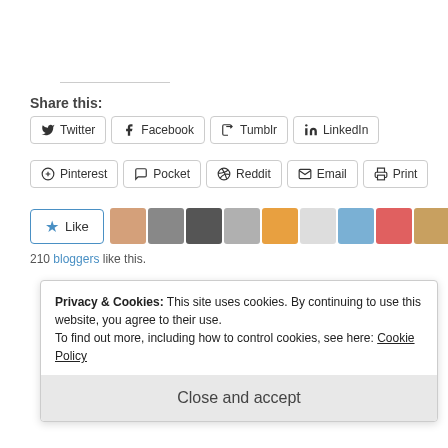Share this:
Twitter  Facebook  Tumblr  LinkedIn
Pinterest  Pocket  Reddit  Email  Print
[Figure (other): Like button with star icon and row of 10 blogger avatar thumbnails]
210 bloggers like this.
Privacy & Cookies: This site uses cookies. By continuing to use this website, you agree to their use. To find out more, including how to control cookies, see here: Cookie Policy
Close and accept